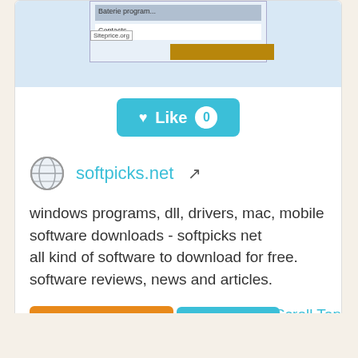[Figure (screenshot): Screenshot of a website with navigation rows including 'Contacts' label, and a siteprice.org watermark]
[Figure (other): Teal 'Like 0' button with heart icon and white circle showing count 0]
softpicks.net
windows programs, dll, drivers, mac, mobile software downloads - softpicks net
all kind of software to download for free. software reviews, news and articles.
Facebook ♡: 16,819
Website Wort...
Scroll Top
Categories: Shareware/Freeware, ???
Is it similar?
Yes 0
No 0